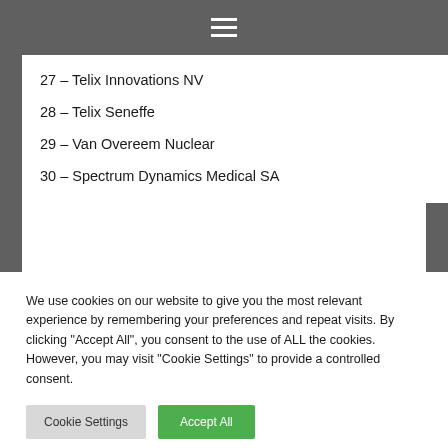☰
27 – Telix Innovations NV
28 – Telix Seneffe
29 – Van Overeem Nuclear
30 – Spectrum Dynamics Medical SA
We use cookies on our website to give you the most relevant experience by remembering your preferences and repeat visits. By clicking "Accept All", you consent to the use of ALL the cookies. However, you may visit "Cookie Settings" to provide a controlled consent.